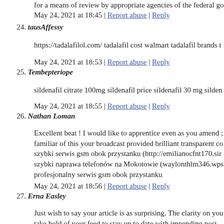for a means of review by appropriate agencies of the federal go
May 24, 2021 at 18:45 | Report abuse | Reply
24. tausAffessy
https://tadalafilol.com/ tadalafil cost walmart tadalafil brands t
May 24, 2021 at 18:53 | Report abuse | Reply
25. Tembepteriope
sildenafil citrate 100mg sildenafil price sildenafil 30 mg silden
May 24, 2021 at 18:55 | Report abuse | Reply
26. Nathan Loman
Excellent beat ! I would like to apprentice even as you amend .; familiar of this your broadcast provided brilliant transparent co; szybki serwis gsm obok przystanku (http://emilianocfnt170.sir; szybki naprawa telefonów na Mokotowie (waylonthlm346.wps; profesjonalny serwis gsm obok przystanku
May 24, 2021 at 18:56 | Report abuse | Reply
27. Erna Easley
Just wish to say your article is as surprising. The clarity on you take hold of your feed to stay up to date with impending post